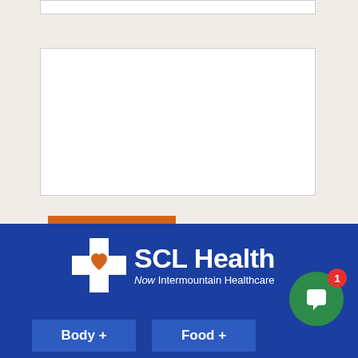[Figure (screenshot): A web form input bar (text field) at the top of the page on a light beige background]
[Figure (screenshot): A large white textarea/text input box for form submission on a light beige background]
Submit
[Figure (logo): SCL Health logo with cross icon and text 'SCL Health Now Intermountain Healthcare' on a dark blue background]
Body +
Food +